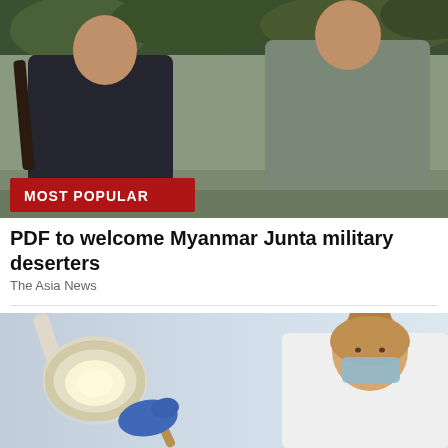[Figure (photo): Two men standing side by side outdoors, one wearing a black jacket and holding a rifle, the other wearing a grey jacket. Trees/foliage visible in background. A red 'MOST POPULAR' badge overlaid at bottom-left.]
PDF to welcome Myanmar Junta military deserters
The Asia News
[Figure (photo): A female dental professional wearing a white coat, blue gloves, and a light blue face mask, leaning over and working with dental tools. A dental lamp is visible on the left side of the image.]